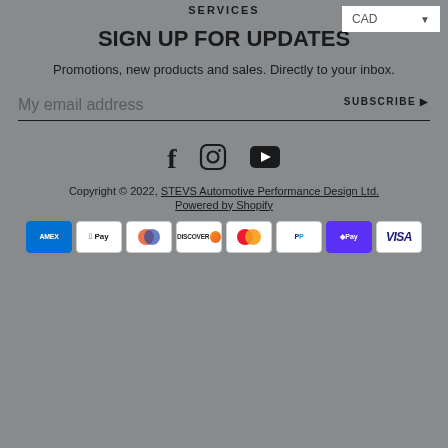SERVICES
CAD ▾
SIGN UP FOR UPDATES
Promotions, new products and sales. Directly to your inbox.
My email address  SUBSCRIBE ▶
[Figure (other): Social media icons: Facebook, Instagram, YouTube]
Copyright © 2022, STEVS Automotive Performance Design Ltd.
Powered by Shopify
[Figure (other): Payment method icons: American Express, Apple Pay, Diners Club, Discover, Mastercard, PayPal, Shop Pay, Visa]